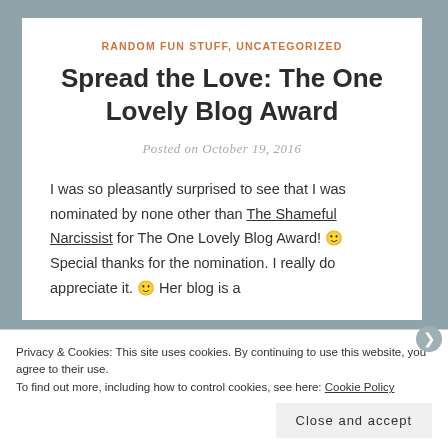RANDOM FUN STUFF, UNCATEGORIZED
Spread the Love: The One Lovely Blog Award
Posted on October 19, 2016
I was so pleasantly surprised to see that I was nominated by none other than The Shameful Narcissist for The One Lovely Blog Award! 🙂 Special thanks for the nomination. I really do appreciate it. 🙂 Her blog is a
Privacy & Cookies: This site uses cookies. By continuing to use this website, you agree to their use.
To find out more, including how to control cookies, see here: Cookie Policy
Close and accept